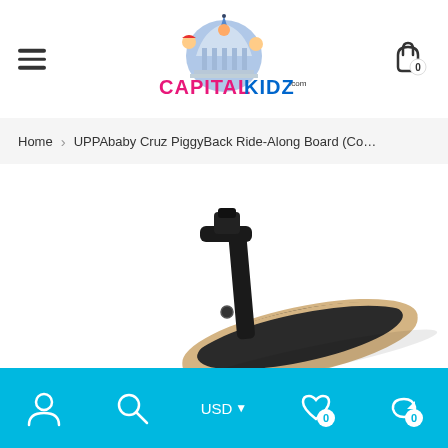[Figure (logo): CapitalKidz.com logo with cartoon children and building illustration, colorful text]
Home > UPPAbaby Cruz PiggyBack Ride-Along Board (Co…
[Figure (photo): UPPAbaby Cruz PiggyBack Ride-Along Board product photo showing the board with black stem attachment on white background]
USD  0  0